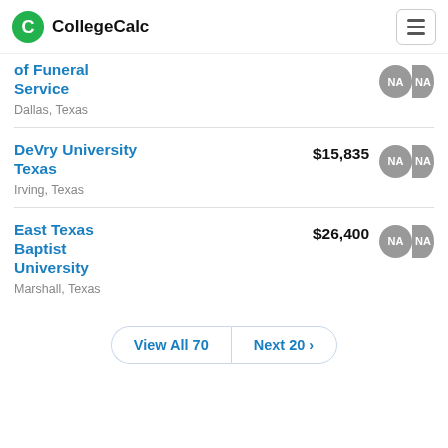CollegeCalc
of Funeral Service — Dallas, Texas
DeVry University Texas — $15,835 — Irving, Texas
East Texas Baptist University — $26,400 — Marshall, Texas
View All 70 | Next 20 >